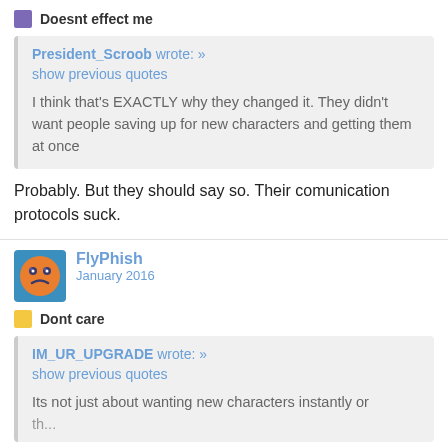Doesnt effect me
President_Scroob wrote: »
show previous quotes

I think that's EXACTLY why they changed it. They didn't want people saving up for new characters and getting them at once
Probably. But they should say so. Their comunication protocols suck.
FlyPhish
January 2016
Dont care
IM_UR_UPGRADE wrote: »
show previous quotes
Its not just about wanting new characters instantly or the benefit of...